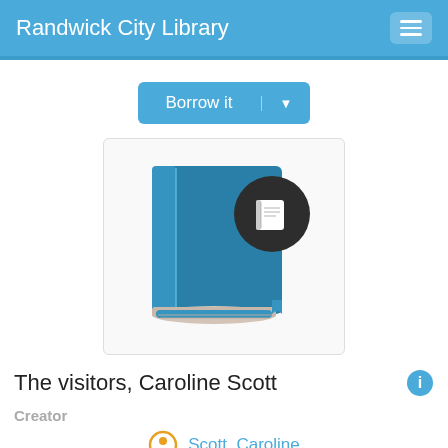Randwick City Library
Borrow it
[Figure (illustration): Book cover icon showing a teal/blue book illustration with a dark circular badge overlay containing a white book/notebook icon]
The visitors, Caroline Scott
Creator
Scott, Caroline
Author